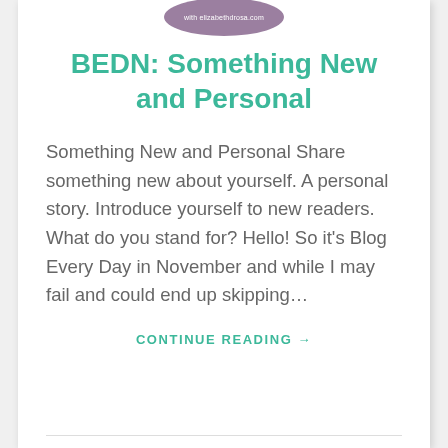[Figure (logo): Elliptical logo badge with text 'with elizabethdrosa.com' on a muted purple/mauve background]
BEDN: Something New and Personal
Something New and Personal Share something new about yourself. A personal story. Introduce yourself to new readers. What do you stand for? Hello! So it's Blog Every Day in November and while I may fail and could end up skipping...
CONTINUE READING →